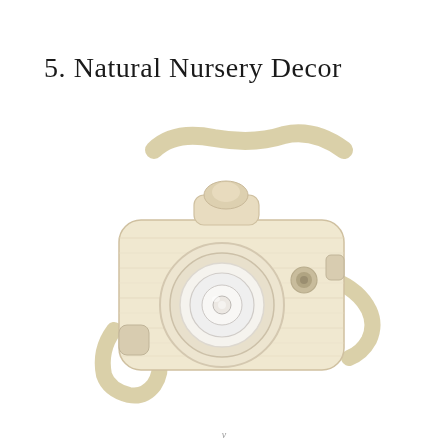5. Natural Nursery Decor
[Figure (photo): A wooden toy camera with a cream/natural wood finish and a fabric strap, photographed on a white background. The camera has a round white lens element in the center and a small viewfinder on top.]
v